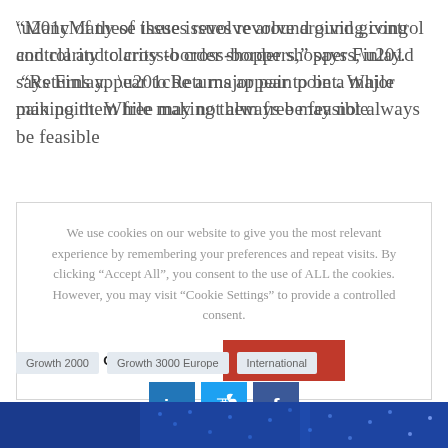“Many of these issues revolve around giving control and clarity to cross-border shoppers,” says Finlay. “Returns appear to be a major pain point. While making them free may not always be feasible
We use cookies on our website to give you the most relevant experience by remembering your preferences and repeat visits. By clicking “Accept All”, you consent to the use of ALL the cookies. However, you may visit “Cookie Settings” to provide a controlled consent.
Cookie Settings | Accept All
Growth 2000
Growth 3000 Europe
International
[Figure (infographic): Social share buttons: LinkedIn (teal/blue), Twitter (blue), Facebook (dark blue)]
[Figure (photo): Blue dotted banner image at the bottom of the page]